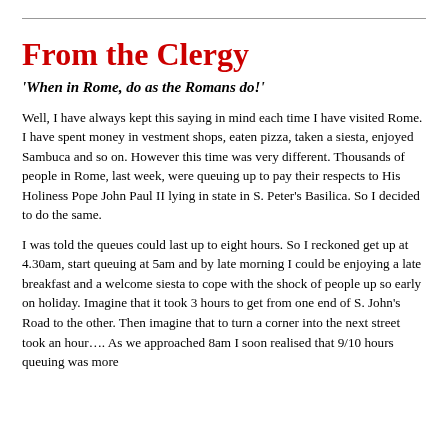From the Clergy
'When in Rome, do as the Romans do!'
Well, I have always kept this saying in mind each time I have visited Rome. I have spent money in vestment shops, eaten pizza, taken a siesta, enjoyed Sambuca and so on. However this time was very different. Thousands of people in Rome, last week, were queuing up to pay their respects to His Holiness Pope John Paul II lying in state in S. Peter’s Basilica. So I decided to do the same.
I was told the queues could last up to eight hours. So I reckoned get up at 4.30am, start queuing at 5am and by late morning I could be enjoying a late breakfast and a welcome siesta to cope with the shock of people up so early on holiday. Imagine that it took 3 hours to get from one end of S. John’s Road to the other. Then imagine that to turn a corner into the next street took an hour…. As we approached 8am I soon realised that 9/10 hours queuing was more